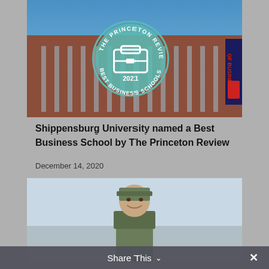[Figure (photo): Photo of Grove College of Business building at Shippensburg University with The Princeton Review 2021 Best Business Schools badge overlaid on the image]
Shippensburg University named a Best Business School by The Princeton Review
December 14, 2020
[Figure (photo): Photo of a smiling person in military camouflage uniform and cap]
Share This ∨  ✕